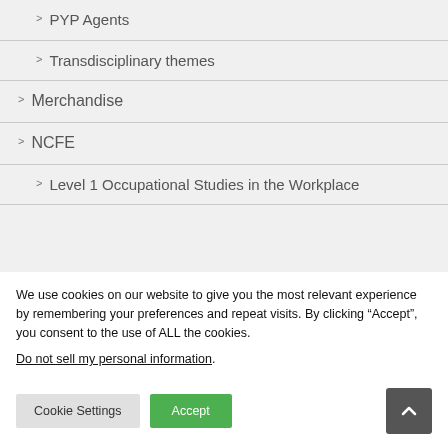PYP Agents
Transdisciplinary themes
Merchandise
NCFE
Level 1 Occupational Studies in the Workplace
We use cookies on our website to give you the most relevant experience by remembering your preferences and repeat visits. By clicking “Accept”, you consent to the use of ALL the cookies.
Do not sell my personal information.